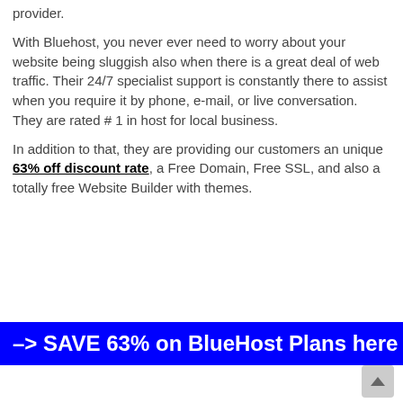provider.
With Bluehost, you never ever need to worry about your website being sluggish also when there is a great deal of web traffic. Their 24/7 specialist support is constantly there to assist when you require it by phone, e-mail, or live conversation. They are rated # 1 in host for local business.
In addition to that, they are providing our customers an unique 63% off discount rate, a Free Domain, Free SSL, and also a totally free Website Builder with themes.
–> SAVE 63% on BlueHost Plans here